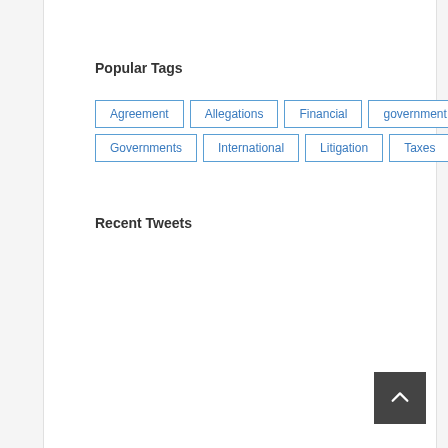Popular Tags
Agreement
Allegations
Financial
government
Governments
International
Litigation
Taxes
Recent Tweets